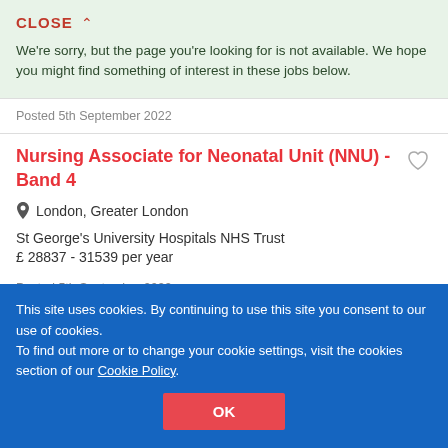CLOSE ∧
We're sorry, but the page you're looking for is not available. We hope you might find something of interest in these jobs below.
Posted 5th September 2022
Nursing Associate for Neonatal Unit (NNU) - Band 4
London, Greater London
St George's University Hospitals NHS Trust
£ 28837 - 31539 per year
Posted 5th September 2022
This site uses cookies. By continuing to use this site you consent to our use of cookies.
To find out more or to change your cookie settings, visit the cookies section of our Cookie Policy.
OK